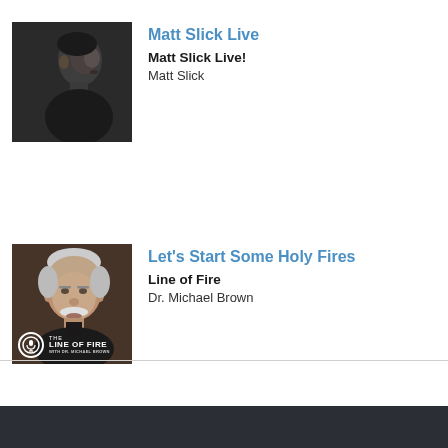[Figure (photo): Black and white photo of Matt Slick, a man in black clothing, side profile, speaking or performing]
Matt Slick Live
Matt Slick Live!
Matt Slick
[Figure (photo): Photo of Dr. Michael Brown, elderly man with white hair and white mustache, dark background, with 'The Line of Fire with Dr. Michael Brown' logo overlay]
Let's Start Some Holy Fires
Line of Fire
Dr. Michael Brown